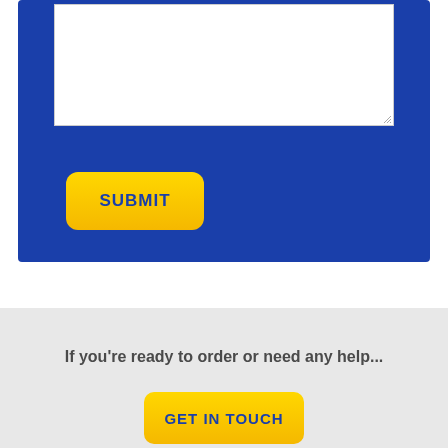[Figure (screenshot): Blue form section with a white textarea box and a yellow SUBMIT button]
If you're ready to order or need any help...
GET IN TOUCH